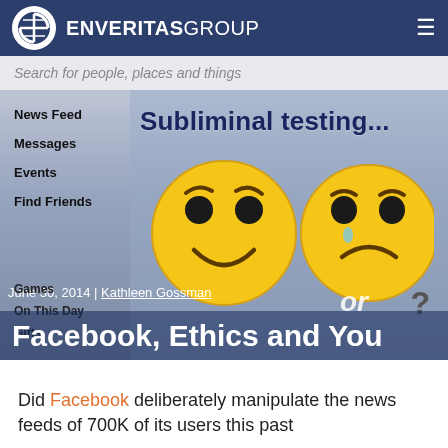ENVERITAS GROUP
[Figure (screenshot): Hero image showing a Facebook-like interface with sidebar (News Feed, Messages, Events, Find Friends) and two emoji faces (happy and sad) with text 'Subliminal testing...' overlaid. Date line 'June 30, 2014 | Kathleen Gossman' visible.]
Facebook, Ethics and You
Did Facebook deliberately manipulate the news feeds of 700K of its users this past